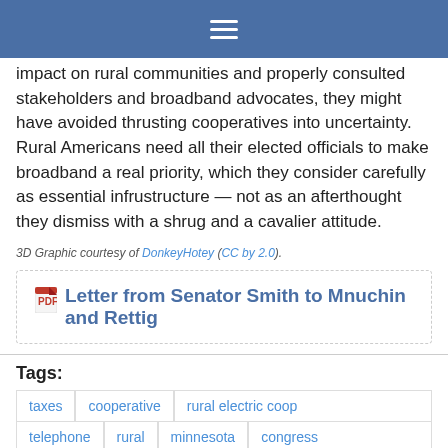≡
impact on rural communities and properly consulted stakeholders and broadband advocates, they might have avoided thrusting cooperatives into uncertainty. Rural Americans need all their elected officials to make broadband a real priority, which they consider carefully as essential infrustructure — not as an afterthought they dismiss with a shrug and a cavalier attitude.
3D Graphic courtesy of DonkeyHotey (CC by 2.0).
Letter from Senator Smith to Mnuchin and Rettig
Tags:
taxes
cooperative
rural electric coop
telephone
rural
minnesota
congress